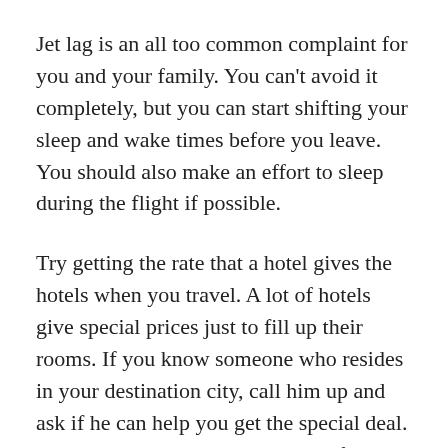Jet lag is an all too common complaint for you and your family. You can't avoid it completely, but you can start shifting your sleep and wake times before you leave. You should also make an effort to sleep during the flight if possible.
Try getting the rate that a hotel gives the hotels when you travel. A lot of hotels give special prices just to fill up their rooms. If you know someone who resides in your destination city, call him up and ask if he can help you get the special deal. This can end up saving you a lot of money.
If you want to adjust faster to a different time zone,